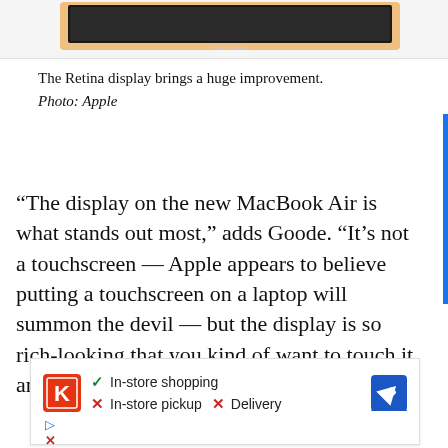[Figure (photo): Partial top view of a MacBook Air laptop (gold color) on a light gray background, showing the top edge of the screen.]
The Retina display brings a huge improvement.
Photo: Apple
“The display on the new MacBook Air is what stands out most,” adds Goode. “It’s not a touchscreen — Apple appears to believe putting a touchscreen on a laptop will summon the devil — but the display is so rich-looking that you kind of want to touch it anyway.”
[Figure (screenshot): Advertisement block with a K-logo (Kohl's or similar), a green checkmark for In-store shopping, red X for In-store pickup, red X for Delivery, a blue navigation/arrow icon. Below: play button triangle and X icons.]